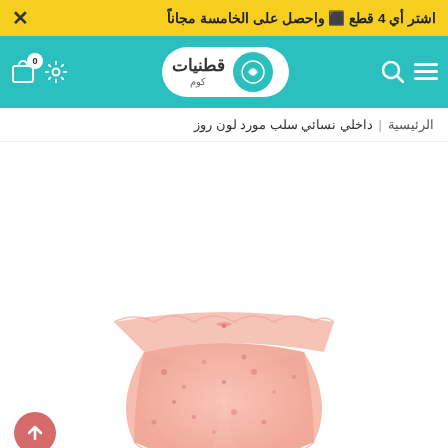اشتر أي 4 قطع ً واحصل على الخامسة مجاناً
[Figure (logo): قطنيات كوم logo on teal navigation bar with hamburger menu, search icon, settings icon, and cart icon]
الرئيسية | داخلي نسائي سلب مورد لون روز
[Figure (photo): Pink floral lace women's underwear on white background]